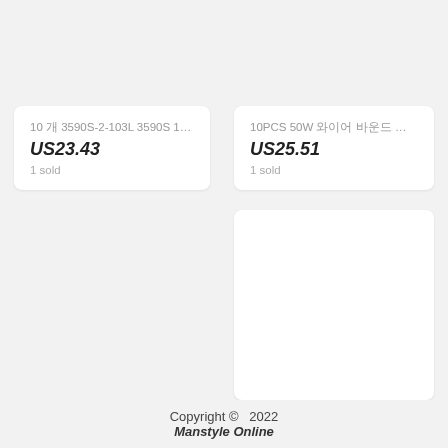10 개 3590S-2-103L 3590S 10K o...
US23.43
1 sold
10PCS 50W 와이어 바운드 저항기 저항기 0.1 ~ 1...
US25.51
1 sold
Copyright © 2022 Manstyle Online